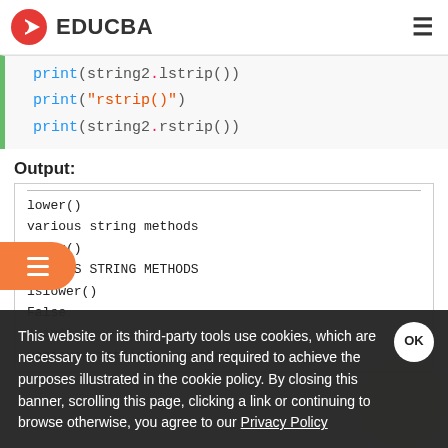EDUCBA
[Figure (screenshot): Python code block showing print(string2.lstrip()), print('rstrip()'), print(string2.rstrip())]
Output:
[Figure (screenshot): Terminal output showing: lower(), various string methods, upper(), VARIOUS STRING METHODS, islower(), False, join(), various-->strings-->methods]
This website or its third-party tools use cookies, which are necessary to its functioning and required to achieve the purposes illustrated in the cookie policy. By closing this banner, scrolling this page, clicking a link or continuing to browse otherwise, you agree to our Privacy Policy